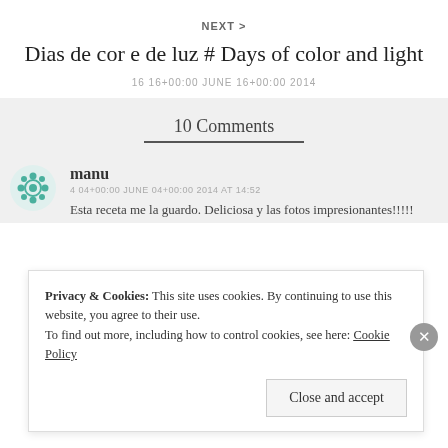NEXT >
Dias de cor e de luz # Days of color and light
16 16+00:00 JUNE 16+00:00 2014
10 Comments
manu
4 04+00:00 JUNE 04+00:00 2014 AT 14:52
Esta receta me la guardo. Deliciosa y las fotos impresionantes!!!!!
Privacy & Cookies: This site uses cookies. By continuing to use this website, you agree to their use.
To find out more, including how to control cookies, see here: Cookie Policy
Close and accept